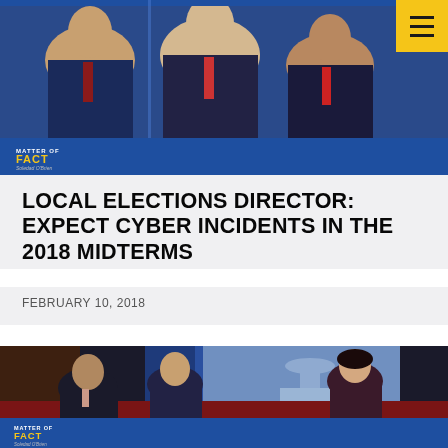[Figure (photo): TV studio screenshot showing three men in suits sitting in a TV news panel set with a blue background and the 'Matter of Fact with Soledad O'Brien' logo visible, with a yellow hamburger menu button in the top right corner]
LOCAL ELECTIONS DIRECTOR: EXPECT CYBER INCIDENTS IN THE 2018 MIDTERMS
FEBRUARY 10, 2018
[Figure (photo): TV studio interview scene showing two men seated on red chairs talking to a female host on the 'Matter of Fact with Soledad O'Brien' set, with a US Capitol building visible on the studio screen background]